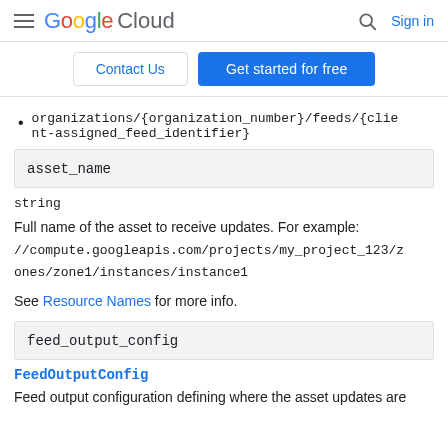Google Cloud | Contact Us | Get started for free | Sign in
organizations/{organization_number}/feeds/{client-assigned_feed_identifier}
asset_name
string
Full name of the asset to receive updates. For example: //compute.googleapis.com/projects/my_project_123/zones/zone1/instances/instance1
See Resource Names for more info.
feed_output_config
FeedOutputConfig
Feed output configuration defining where the asset updates are